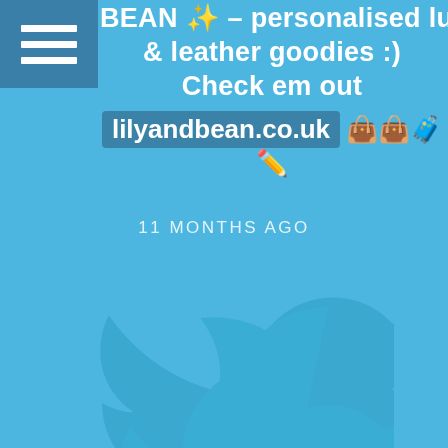[Figure (screenshot): Twitter/social media screenshot showing a tweet about LILY AND BEAN personalised luggage, bags, hats and leather goodies with website lilyandbean.co.uk and emojis, posted 11 months ago, with a large Twitter bird watermark in the background on a blue background]
BEAN ✨ – personalised luggage, bags, hats & leather goodies :) Check em out lilyandbean.co.uk 👜👜🧳✏️
11 MONTHS AGO